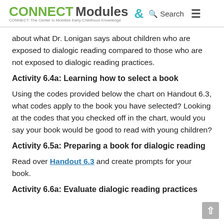CONNECT Modules & Search CONNECT: The Center to Mobilize Early Childhood Knowledge
about what Dr. Lonigan says about children who are exposed to dialogic reading compared to those who are not exposed to dialogic reading practices.
Activity 6.4a: Learning how to select a book
Using the codes provided below the chart on Handout 6.3, what codes apply to the book you have selected? Looking at the codes that you checked off in the chart, would you say your book would be good to read with young children?
Activity 6.5a: Preparing a book for dialogic reading
Read over Handout 6.3 and create prompts for your book.
Activity 6.6a: Evaluate dialogic reading practices